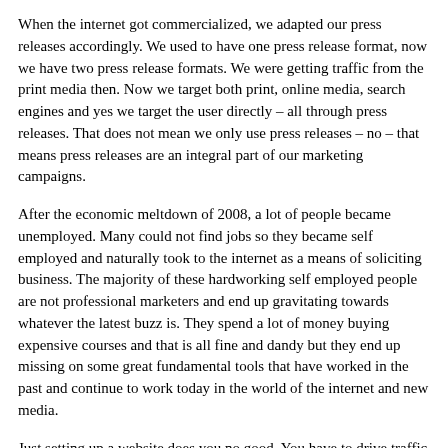When the internet got commercialized, we adapted our press releases accordingly. We used to have one press release format, now we have two press release formats. We were getting traffic from the print media then. Now we target both print, online media, search engines and yes we target the user directly – all through press releases. That does not mean we only use press releases – no – that means press releases are an integral part of our marketing campaigns.
After the economic meltdown of 2008, a lot of people became unemployed. Many could not find jobs so they became self employed and naturally took to the internet as a means of soliciting business. The majority of these hardworking self employed people are not professional marketers and end up gravitating towards whatever the latest buzz is. They spend a lot of money buying expensive courses and that is all fine and dandy but they end up missing on some great fundamental tools that have worked in the past and continue to work today in the world of the internet and new media.
Just setting up a website does you no good. You have to drive traffic to it. Traffic does not just show up by itself. You have to drive it to your website. How do you do it? There are a whole range of things you can do but one of the best methods is to send out a press release.